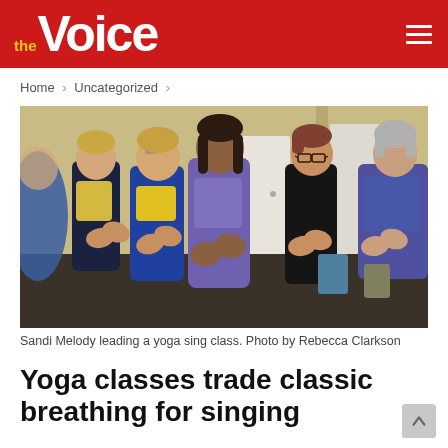the Voice
Home > Uncategorized >
[Figure (photo): Group of five women standing in a yoga studio clapping and singing. A woman in a purple jacket stands in the center leading the group. Others wear blue, yellow, and dark clothing. The room has light yellow walls and a white door in background.]
Sandi Melody leading a yoga sing class. Photo by Rebecca Clarkson
Yoga classes trade classic breathing for singing